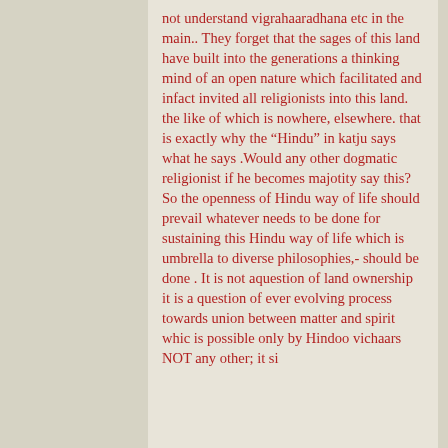not understand vigrahaaradhana etc in the main.. They forget that the sages of this land have built into the generations a thinking mind of an open nature which facilitated and infact invited all religionists into this land. the like of which is nowhere, elsewhere. that is exactly why the “Hindu” in katju says what he says .Would any other dogmatic religionist if he becomes majotity say this? So the openness of Hindu way of life should prevail whatever needs to be done for sustaining this Hindu way of life which is umbrella to diverse philosophies,- should be done . It is not aquestion of land ownership it is a question of ever evolving process towards union between matter and spirit whic is possible only by Hindoo vichaars NOT any other; it si